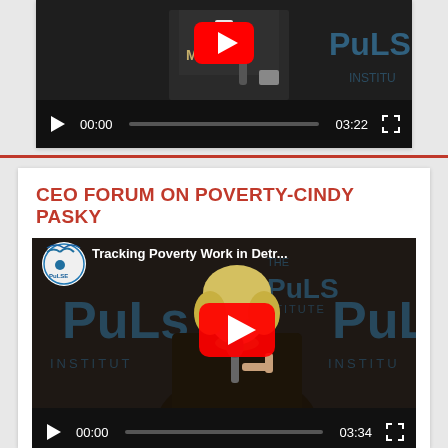[Figure (screenshot): Partial YouTube video player showing a person in a suit holding a microphone, with PuLSE Institute branding in background. Video controls show 00:00 / 03:22.]
CEO FORUM ON POVERTY-CINDY PASKY
[Figure (screenshot): YouTube video player for 'Tracking Poverty Work in Detr...' with PuLSE Institute logo, showing a woman with blonde hair speaking at a microphone. Video controls show 00:00 / 03:34.]